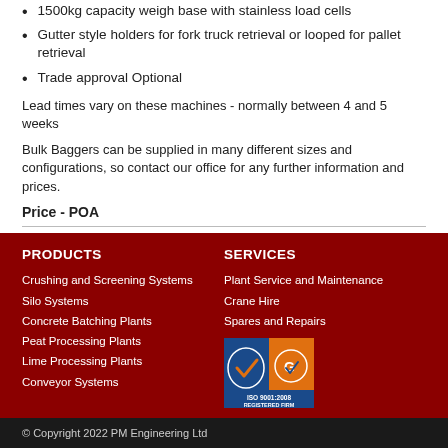1500kg capacity weigh base with stainless load cells
Gutter style holders for fork truck retrieval or looped for pallet retrieval
Trade approval Optional
Lead times vary on these machines - normally between 4 and 5 weeks
Bulk Baggers can be supplied in many different sizes and configurations, so contact our office for any further information and prices.
Price - POA
PRODUCTS
Crushing and Screening Systems
Silo Systems
Concrete Batching Plants
Peat Processing Plants
Lime Processing Plants
Conveyor Systems
SERVICES
Plant Service and Maintenance
Crane Hire
Spares and Repairs
[Figure (logo): ISO 9001:2008 Registered Firm badge with laurel wreath and check mark logos]
© Copyright 2022 PM Engineering Ltd